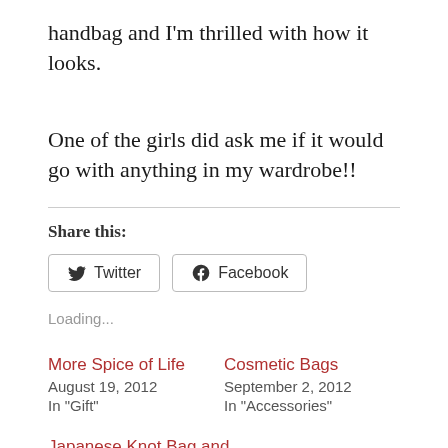handbag and I'm thrilled with how it looks.
One of the girls did ask me if it would go with anything in my wardrobe!!
Share this:
Twitter  Facebook
Loading...
More Spice of Life
August 19, 2012
In "Gift"
Cosmetic Bags
September 2, 2012
In "Accessories"
Japanese Knot Bag and
November Stashbusting